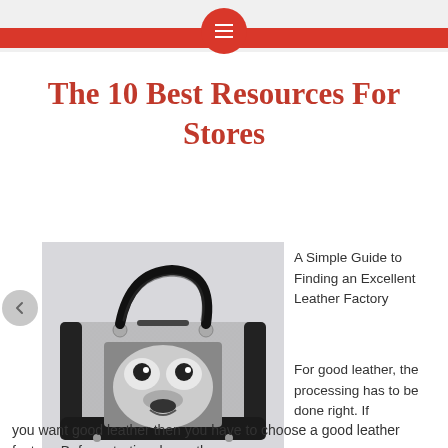The 10 Best Resources For Stores
[Figure (photo): A grey tweed duffle/doctor bag with black leather handles and trim, featuring an image of a husky dog face on the front panel.]
A Simple Guide to Finding an Excellent Leather Factory
For good leather, the processing has to be done right. If you want good leather then you have to choose a good leather factory. Before starting, know the